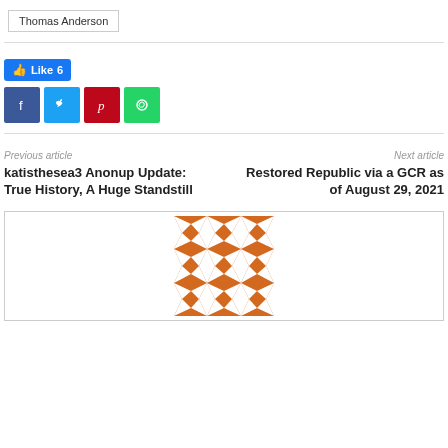Thomas Anderson
Like 6
[Figure (other): Social share buttons: Facebook, Twitter, Pinterest, WhatsApp]
Previous article
Next article
katisthesea3 Anonup Update: True History, A Huge Standstill
Restored Republic via a GCR as of August 29, 2021
[Figure (illustration): Orange and white geometric quilt pattern square]